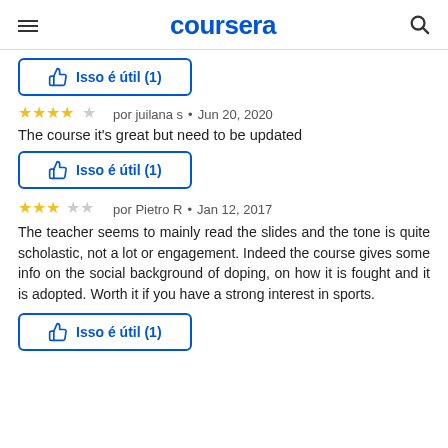coursera
Isso é útil (1)
★★★★☆ por juilana s • Jun 20, 2020
The course it's great but need to be updated
Isso é útil (1)
★★★☆☆ por Pietro R • Jan 12, 2017
The teacher seems to mainly read the slides and the tone is quite scholastic, not a lot or engagement. Indeed the course gives some info on the social background of doping, on how it is fought and it is adopted. Worth it if you have a strong interest in sports.
Isso é útil (1)